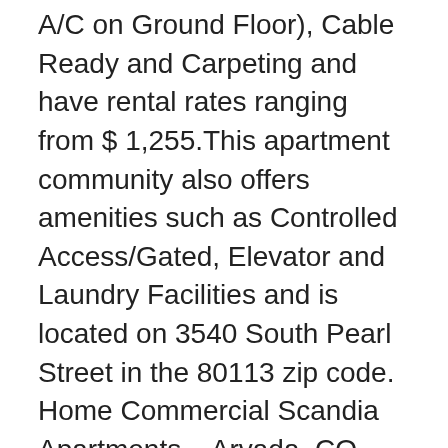A/C on Ground Floor), Cable Ready and Carpeting and have rental rates ranging from $ 1,255.This apartment community also offers amenities such as Controlled Access/Gated, Elevator and Laundry Facilities and is located on 3540 South Pearl Street in the 80113 zip code. Home Commercial Scandia Apartments, , Arvada, CO 80004 For more information on this listing, contact Paul Hanson at (303) 889-9062 or phanson@denverrealtygroup.com Scandia Apartments... Scandia Apartments are located just two blocks from the Texas A&M University Campus. Enjoy quick and easy access to many shopping centers including HEB & Target, as well as recreation areas like Anderson Athletic Park & Bee Creek Park. Come to a home you deserve located in Kansas City, MO. Scandia Village has everything